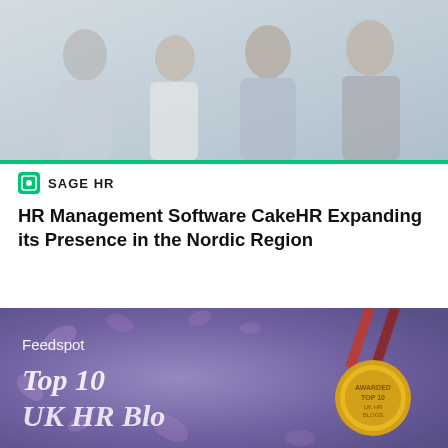[Figure (photo): Photo of four smiling professionals standing together, casual and business attire, light background]
SAGE HR
HR Management Software CakeHR Expanding its Presence in the Nordic Region
[Figure (photo): Feedspot Top 10 UK HR Blogs award banner with a gold medal on a purple floral background]